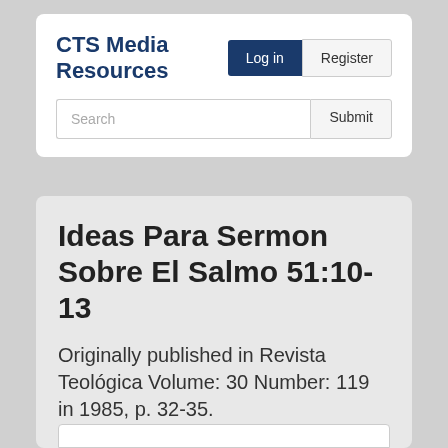CTS Media Resources
Log in
Register
Search
Submit
Ideas Para Sermon Sobre El Salmo 51:10-13
Originally published in Revista Teológica Volume: 30 Number: 119 in 1985, p. 32-35.
This text is available in the following places: